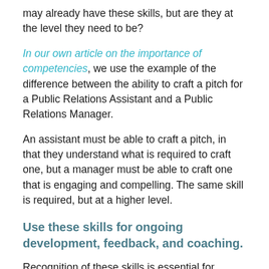may already have these skills, but are they at the level they need to be?
In our own article on the importance of competencies, we use the example of the difference between the ability to craft a pitch for a Public Relations Assistant and a Public Relations Manager.
An assistant must be able to craft a pitch, in that they understand what is required to craft one, but a manager must be able to craft one that is engaging and compelling. The same skill is required, but at a higher level.
Use these skills for ongoing development, feedback, and coaching.
Recognition of these skills is essential for development. It becomes easier to assess the skills